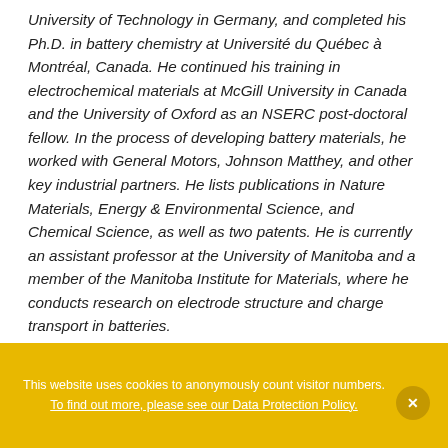University of Technology in Germany, and completed his Ph.D. in battery chemistry at Université du Québec à Montréal, Canada. He continued his training in electrochemical materials at McGill University in Canada and the University of Oxford as an NSERC post-doctoral fellow. In the process of developing battery materials, he worked with General Motors, Johnson Matthey, and other key industrial partners. He lists publications in Nature Materials, Energy & Environmental Science, and Chemical Science, as well as two patents. He is currently an assistant professor at the University of Manitoba and a member of the Manitoba Institute for Materials, where he conducts research on electrode structure and charge transport in batteries.
This website uses cookies to anonymously count visitor numbers. To find out more, please see our Data Protection Policy.